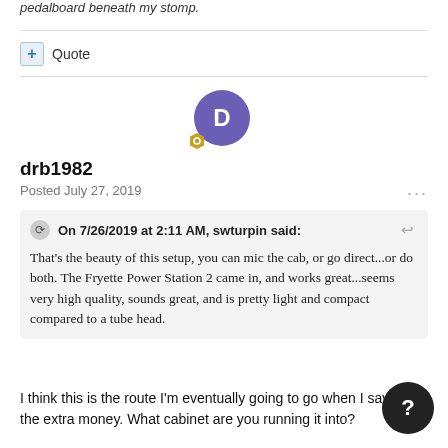pedalboard beneath my stomp.
+ Quote
[Figure (illustration): User avatar: purple circle with white 'D', gold hexagon badge]
drb1982
Posted July 27, 2019
On 7/26/2019 at 2:11 AM, swturpin said:
That's the beauty of this setup, you can mic the cab, or go direct...or do both. The Fryette Power Station 2 came in, and works great...seems very high quality, sounds great, and is pretty light and compact compared to a tube head.
I think this is the route I'm eventually going to go when I save the extra money. What cabinet are you running it into?